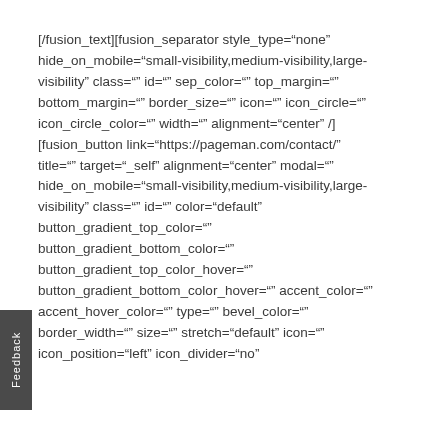[/fusion_text][fusion_separator style_type="none" hide_on_mobile="small-visibility,medium-visibility,large-visibility" class="" id="" sep_color="" top_margin="" bottom_margin="" border_size="" icon="" icon_circle="" icon_circle_color="" width="" alignment="center" /] [fusion_button link="https://pageman.com/contact/" title="" target="_self" alignment="center" modal="" hide_on_mobile="small-visibility,medium-visibility,large-visibility" class="" id="" color="default" button_gradient_top_color="" button_gradient_bottom_color="" button_gradient_top_color_hover="" button_gradient_bottom_color_hover="" accent_color="" accent_hover_color="" type="" bevel_color="" border_width="" size="" stretch="default" icon="" icon_position="left" icon_divider="no"